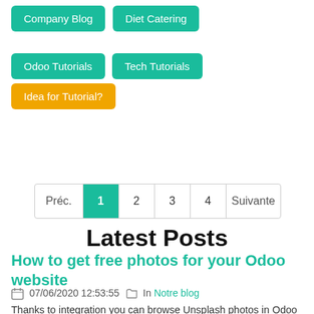Company Blog
Diet Catering
Odoo Tutorials
Tech Tutorials
Idea for Tutorial?
Préc. 1 2 3 4 Suivante
Latest Posts
How to get free photos for your Odoo website
07/06/2020 12:53:55 In Notre blog
Thanks to integration you can browse Unsplash photos in Odoo and download the chosen ones.related issues.